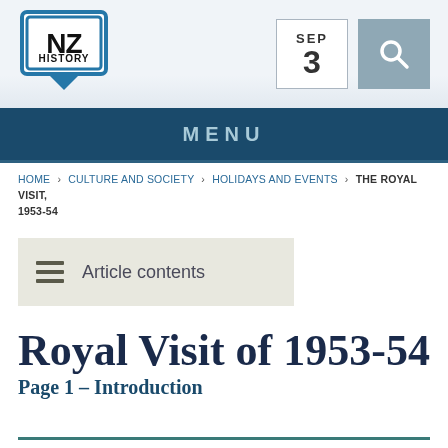[Figure (logo): NZ History logo — shield shape with 'NZ' in bold black text and 'HISTORY' below, outlined in blue, with a blue speech-bubble pointer at the bottom]
SEP 3
MENU
HOME > CULTURE AND SOCIETY > HOLIDAYS AND EVENTS > THE ROYAL VISIT, 1953-54
Article contents
Royal Visit of 1953-54
Page 1 – Introduction